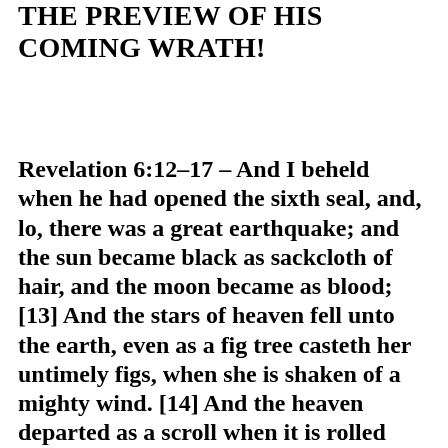THE PREVIEW OF HIS COMING WRATH!
Revelation 6:12-17 – And I beheld when he had opened the sixth seal, and, lo, there was a great earthquake; and the sun became black as sackcloth of hair, and the moon became as blood; [13] And the stars of heaven fell unto the earth, even as a fig tree casteth her untimely figs, when she is shaken of a mighty wind. [14] And the heaven departed as a scroll when it is rolled together; and every